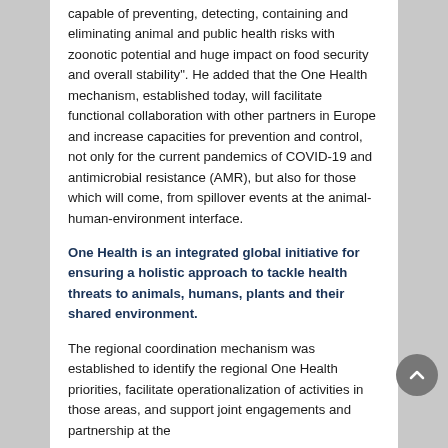capable of preventing, detecting, containing and eliminating animal and public health risks with zoonotic potential and huge impact on food security and overall stability". He added that the One Health mechanism, established today, will facilitate functional collaboration with other partners in Europe and increase capacities for prevention and control, not only for the current pandemics of COVID-19 and antimicrobial resistance (AMR), but also for those which will come, from spillover events at the animal-human-environment interface.
One Health is an integrated global initiative for ensuring a holistic approach to tackle health threats to animals, humans, plants and their shared environment.
The regional coordination mechanism was established to identify the regional One Health priorities, facilitate operationalization of activities in those areas, and support joint engagements and partnership at the